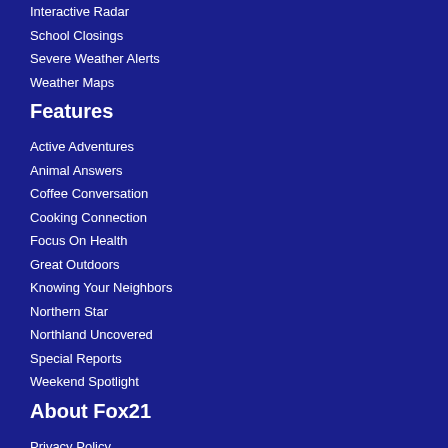Interactive Radar
School Closings
Severe Weather Alerts
Weather Maps
Features
Active Adventures
Animal Answers
Coffee Conversation
Cooking Connection
Focus On Health
Great Outdoors
Knowing Your Neighbors
Northern Star
Northland Uncovered
Special Reports
Weekend Spotlight
About Fox21
Privacy Policy
Terms of Use
Contact Us
FCC Public File
FCC Applications
EEO Information
FOX21 Careers
Meet The News Team
General Contest Rules